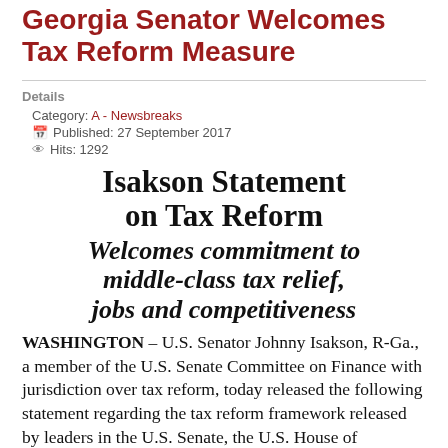Georgia Senator Welcomes Tax Reform Measure
Details
Category: A - Newsbreaks
Published: 27 September 2017
Hits: 1292
Isakson Statement on Tax Reform
Welcomes commitment to middle-class tax relief, jobs and competitiveness
WASHINGTON – U.S. Senator Johnny Isakson, R-Ga., a member of the U.S. Senate Committee on Finance with jurisdiction over tax reform, today released the following statement regarding the tax reform framework released by leaders in the U.S. Senate, the U.S. House of Representatives and the Trump administration: